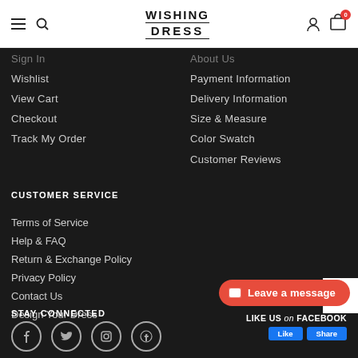WISHING DRESS
Sign In
Wishlist
View Cart
Checkout
Track My Order
About Us
Payment Information
Delivery Information
Size & Measure
Color Swatch
Customer Reviews
CUSTOMER SERVICE
Terms of Service
Help & FAQ
Return & Exchange Policy
Privacy Policy
Contact Us
Design Your Dress
STAY CONNECTED
Leave a message
LIKE US on FACEBOOK